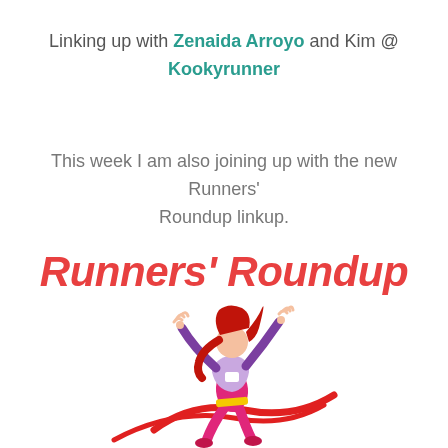Linking up with Zenaida Arroyo and Kim @ Kookyrunner
This week I am also joining up with the new Runners' Roundup linkup.
Runners' Roundup
[Figure (illustration): Illustration of a female runner with red hair, purple and pink outfit, arms raised in celebration, crossing a finish line tape in red.]